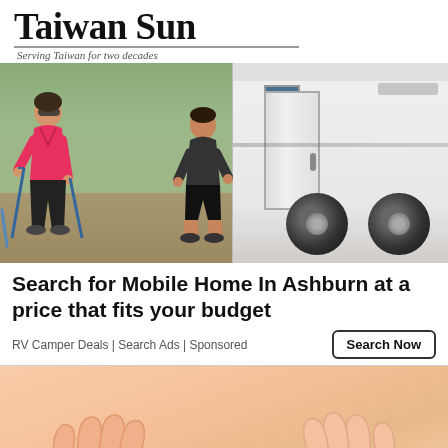Taiwan Sun — Serving Taiwan for two decades
[Figure (photo): Outdoor scene with two people near a white RV/motorhome. A woman in a pink top holds trekking poles on the left, and a man in dark clothing exits the RV door on the right.]
Search for Mobile Home In Ashburn at a price that fits your budget
RV Camper Deals | Search Ads | Sponsored
[Figure (illustration): Illustrated cartoon hands holding a coin, with a peach/skin-tone color palette.]